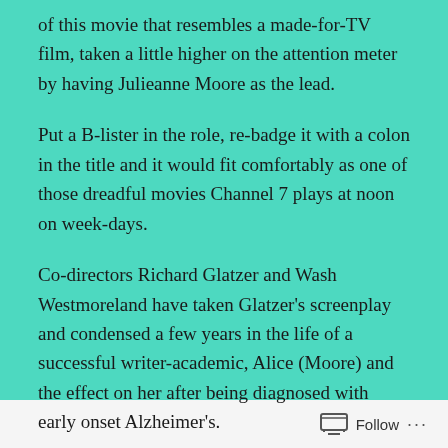of this movie that resembles a made-for-TV film, taken a little higher on the attention meter by having Julieanne Moore as the lead.
Put a B-lister in the role, re-badge it with a colon in the title and it would fit comfortably as one of those dreadful movies Channel 7 plays at noon on week-days.
Co-directors Richard Glatzer and Wash Westmoreland have taken Glatzer's screenplay and condensed a few years in the life of a successful writer-academic, Alice (Moore) and the effect on her after being diagnosed with early onset Alzheimer's.
Follow